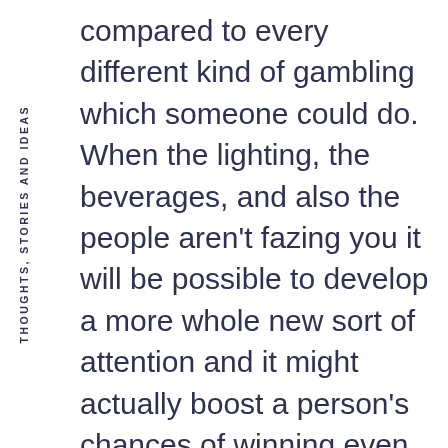THOUGHTS, STORIES AND IDEAS
compared to every different kind of gambling which someone could do. When the lighting, the beverages, and also the people aren't fazing you it will be possible to develop a more whole new sort of attention and it might actually boost a person's chances of winning even when they do not succeed at the conventional poker atmosphere.
If you are looking for a Little